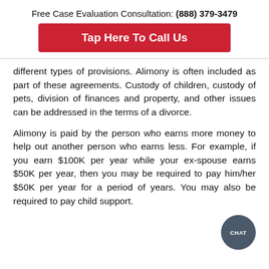Free Case Evaluation Consultation: (888) 379-3479
[Figure (other): Red button with white bold text 'Tap Here To Call Us']
different types of provisions. Alimony is often included as part of these agreements. Custody of children, custody of pets, division of finances and property, and other issues can be addressed in the terms of a divorce.
Alimony is paid by the person who earns more money to help out another person who earns less. For example, if you earn $100K per year while your ex-spouse earns $50K per year, then you may be required to pay him/her $50K per year for a period of years. You may also be required to pay child support.